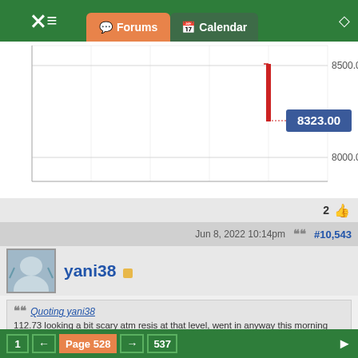Forums | Calendar
[Figure (continuous-plot): Financial price chart showing candlestick or line chart with price levels around 8000-8500, with a red vertical bar near the right side and a blue label showing 8323.00. Horizontal gridlines at 8000.00 and ~8500.00 are visible.]
2
Jun 8, 2022 10:14pm  #10,543
yani38
Quoting yani38
112.73 looking a bit scary atm resis at that level, went in anyway this morning long obviously trusting it will break above, reasonably tight stops back to 100/111, no doubt a bit of to and fro in the meantime around that 112/113 level. Target 113.60 then123/4. {image}
Made it, where to from here? !50.00, maybe.
1  ←  Page 528  →  537